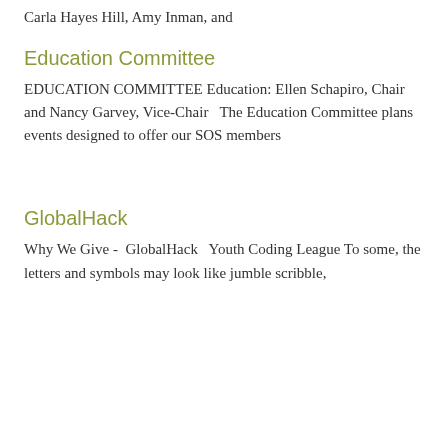Carla Hayes Hill, Amy Inman, and
Education Committee
EDUCATION COMMITTEE Education: Ellen Schapiro, Chair and Nancy Garvey, Vice-Chair   The Education Committee plans events designed to offer our SOS members
GlobalHack
Why We Give -  GlobalHack   Youth Coding League To some, the letters and symbols may look like jumble scribble,